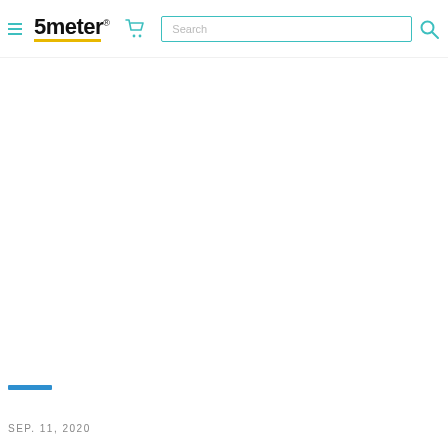5meter® [cart] [Search]
SEP. 11, 2020